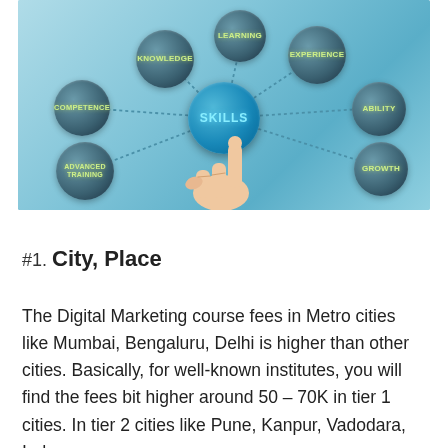[Figure (illustration): Skills concept illustration showing circular bubbles connected by dotted lines to a central glowing blue 'SKILLS' bubble being pointed at by a hand. Surrounding bubbles read: KNOWLEDGE, LEARNING, EXPERIENCE, ABILITY, GROWTH, ADVANCED TRAINING, COMPETENCE.]
#1. City, Place
The Digital Marketing course fees in Metro cities like Mumbai, Bengaluru, Delhi is higher than other cities. Basically, for well-known institutes, you will find the fees bit higher around 50 – 70K in tier 1 cities. In tier 2 cities like Pune, Kanpur, Vadodara, Indore,